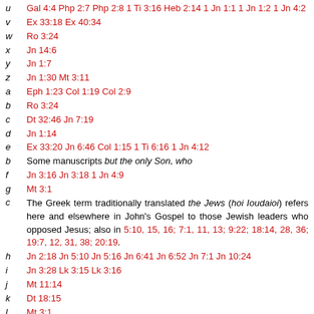u  Gal 4:4 Php 2:7 Php 2:8 1 Ti 3:16 Heb 2:14 1 Jn 1:1 1 Jn 1:2 1 Jn 4:2
v  Ex 33:18 Ex 40:34
w  Ro 3:24
x  Jn 14:6
y  Jn 1:7
z  Jn 1:30 Mt 3:11
a  Eph 1:23 Col 1:19 Col 2:9
b  Ro 3:24
c  Dt 32:46 Jn 7:19
d  Jn 1:14
e  Ex 33:20 Jn 6:46 Col 1:15 1 Ti 6:16 1 Jn 4:12
b  Some manuscripts but the only Son, who
f  Jn 3:16 Jn 3:18 1 Jn 4:9
g  Mt 3:1
c  The Greek term traditionally translated the Jews (hoi Ioudaioi) refers here and elsewhere in John's Gospel to those Jewish leaders who opposed Jesus; also in 5:10, 15, 16; 7:1, 11, 13; 9:22; 18:14, 28, 36; 19:7, 12, 31, 38; 20:19.
h  Jn 2:18 Jn 5:10 Jn 5:16 Jn 6:41 Jn 6:52 Jn 7:1 Jn 10:24
i  Jn 3:28 Lk 3:15 Lk 3:16
j  Mt 11:14
k  Dt 18:15
l  Mt 3:1